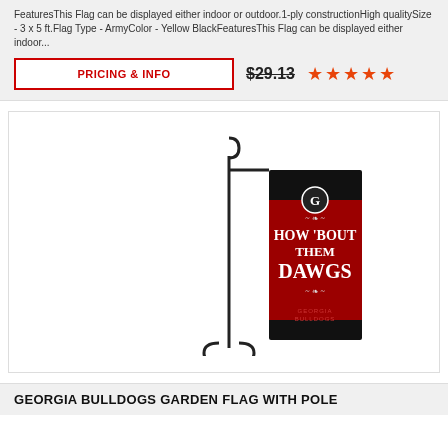FeaturesThis Flag can be displayed either indoor or outdoor.1-ply constructionHigh qualitySize - 3 x 5 ft.Flag Type - ArmyColor - Yellow BlackFeaturesThis Flag can be displayed either indoor...
PRICING & INFO
$29.13
[Figure (illustration): Georgia Bulldogs garden flag with pole showing HOW 'BOUT THEM DAWGS text on red and black background with Georgia G logo]
GEORGIA BULLDOGS GARDEN FLAG WITH POLE